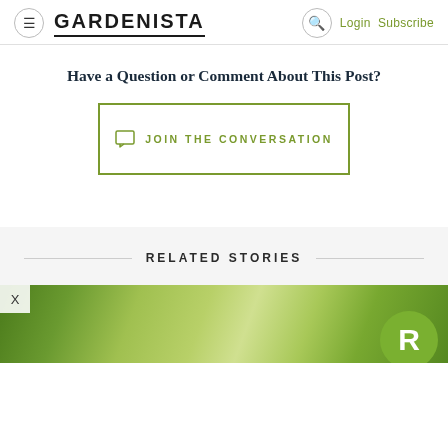GARDENISTA — Login Subscribe
Have a Question or Comment About This Post?
JOIN THE CONVERSATION
RELATED STORIES
[Figure (photo): Green foliage/garden image used as a story thumbnail with an X close button and green R badge in bottom right corner]